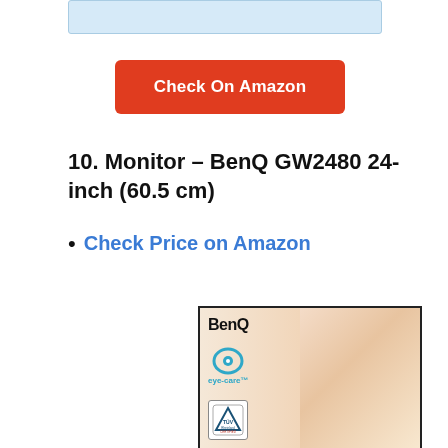[Figure (other): Light blue rectangular placeholder box at top of page]
[Figure (other): Red 'Check On Amazon' button]
10. Monitor – BenQ GW2480 24-inch (60.5 cm)
Check Price on Amazon
[Figure (photo): BenQ GW2480 monitor product image showing BenQ logo, eye-care logo, TUV Rheinland badge, and close-up of woman's eye on the right side]